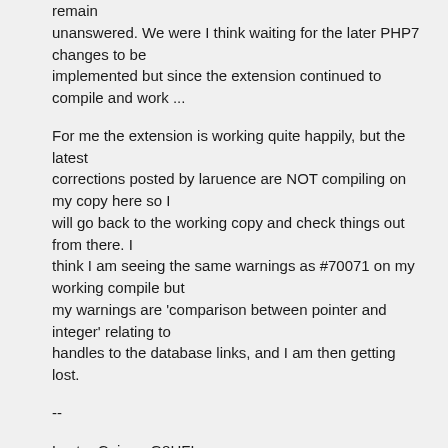remain unanswered. We were I think waiting for the later PHP7 changes to be implemented but since the extension continued to compile and work ...
For me the extension is working quite happily, but the latest corrections posted by laruence are NOT compiling on my copy here so I will go back to the working copy and check things out from there. I think I am seeing the same warnings as #70071 on my working compile but my warnings are 'comparison between pointer and integer' relating to handles to the database links, and I am then getting lost.
--
Lester Caine - G8HFL
Contact - http://lsces.co.uk/wiki/?page=contact
L.S.Caine Electronic Services - http://lsces.co.uk